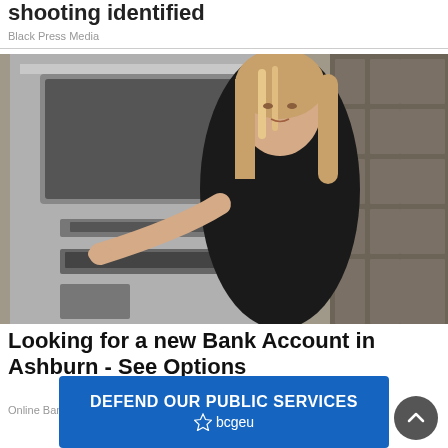shooting identified
Black Press Media
[Figure (photo): Woman using an ATM machine, wearing a black sleeveless top, with long blonde hair, looking at camera over her shoulder. ATM is silver/grey, background shows stone tile wall.]
Looking for a new Bank Account in Ashburn - See Options
Online Bank Account | Search Ads | Sponsored
[Figure (other): Dark grey circular scroll-up button with upward chevron arrow]
[Figure (other): Blue banner advertisement reading DEFEND OUR PUBLIC SERVICES with bcgeu logo]